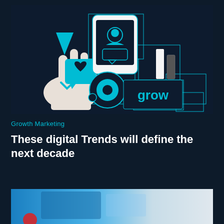[Figure (illustration): Dark navy blue background illustration showing digital marketing icons: a hand pointing, a heart speech bubble, a smartphone with a profile icon, a bar chart icon, a camera/target circle icon, and a 'grow' text label, all connected by thin rectangular outlines in a staircase layout. Cyan and white color scheme.]
Growth Marketing
These digital Trends will define the next decade
[Figure (photo): Partial photo showing a blurred background with blue tones, a red circular element visible at the bottom left, and what appears to be a screen or tablet in the background.]